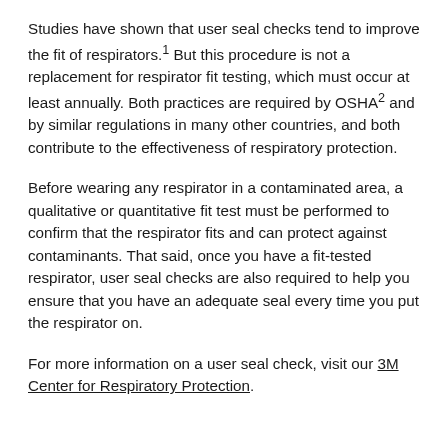Studies have shown that user seal checks tend to improve the fit of respirators.¹ But this procedure is not a replacement for respirator fit testing, which must occur at least annually. Both practices are required by OSHA² and by similar regulations in many other countries, and both contribute to the effectiveness of respiratory protection.
Before wearing any respirator in a contaminated area, a qualitative or quantitative fit test must be performed to confirm that the respirator fits and can protect against contaminants. That said, once you have a fit-tested respirator, user seal checks are also required to help you ensure that you have an adequate seal every time you put the respirator on.
For more information on a user seal check, visit our 3M Center for Respiratory Protection.